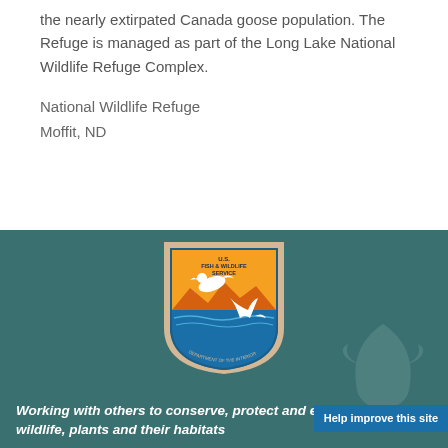the nearly extirpated Canada goose population. The Refuge is managed as part of the Long Lake National Wildlife Refuge Complex.
National Wildlife Refuge
Moffit, ND
[Figure (logo): U.S. Fish & Wildlife Service shield logo with duck in flight and fish jumping, orange sunrise background, teal water]
Working with others to conserve, protect and enhance fish, wildlife, plants and their habitats
Help improve this site